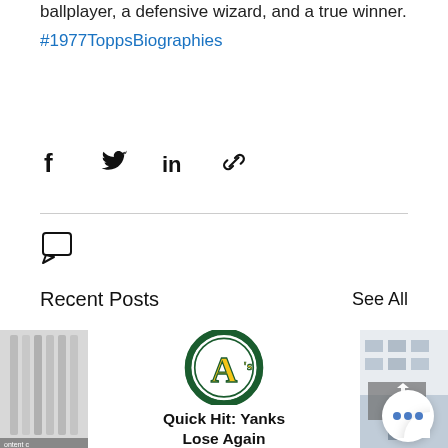ballplayer, a defensive wizard, and a true winner.
#1977ToppsBiographies
[Figure (infographic): Social share icons row: Facebook, Twitter, LinkedIn, link/chain icon]
[Figure (infographic): Comment/speech bubble icon]
Recent Posts
See All
[Figure (photo): Left partial post thumbnail - vertical stripes/tubes]
[Figure (logo): Oakland Athletics circular logo with green circle, yellow A's lettering, and text OAKLAND ATHLETICS]
Quick Hit: Yanks Lose Again
[Figure (photo): Right partial post thumbnail - building exterior, grey tones]
[Figure (infographic): Three dots menu button (ellipsis) in white circle]